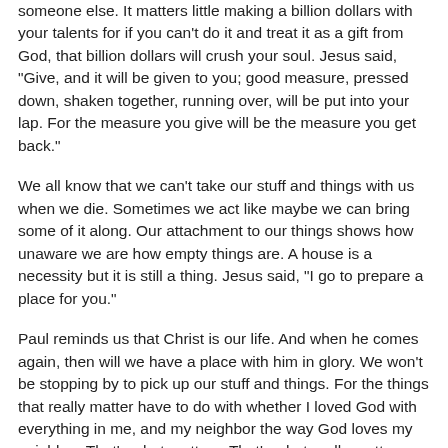someone else. It matters little making a billion dollars with your talents for if you can't do it and treat it as a gift from God, that billion dollars will crush your soul. Jesus said, "Give, and it will be given to you; good measure, pressed down, shaken together, running over, will be put into your lap. For the measure you give will be the measure you get back."
We all know that we can't take our stuff and things with us when we die. Sometimes we act like maybe we can bring some of it along. Our attachment to our things shows how unaware we are how empty things are. A house is a necessity but it is still a thing. Jesus said, "I go to prepare a place for you."
Paul reminds us that Christ is our life. And when he comes again, then will we have a place with him in glory. We won't be stopping by to pick up our stuff and things. For the things that really matter have to do with whether I loved God with everything in me, and my neighbor the way God loves my neighbor. That's what matters. That's what really matters. It's what really matters to God. So when we check out of this